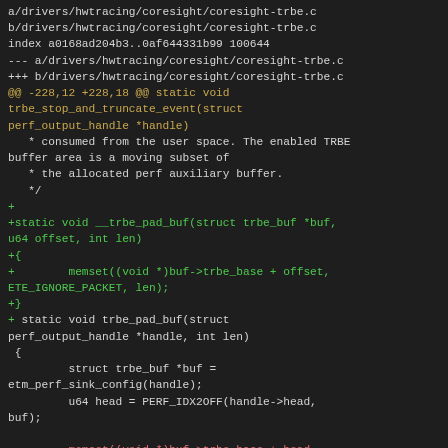[Figure (screenshot): A code diff showing changes to drivers/hwtracing/coresight/coresight-trbe.c with added function __trbe_pad_buf and modifications to trbe_pad_buf]